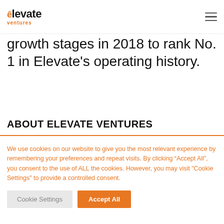elevate ventures
growth stages in 2018 to rank No. 1 in Elevate’s operating history.
ABOUT ELEVATE VENTURES
We use cookies on our website to give you the most relevant experience by remembering your preferences and repeat visits. By clicking “Accept All”, you consent to the use of ALL the cookies. However, you may visit "Cookie Settings" to provide a controlled consent.